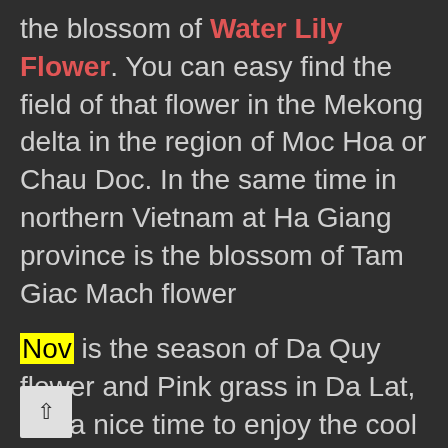the blossom of Water Lily Flower. You can easy find the field of that flower in the Mekong delta in the region of Moc Hoa or Chau Doc. In the same time in northern Vietnam at Ha Giang province is the blossom of Tam Giac Mach flower
Nov is the season of Da Quy flower and Pink grass in Da Lat, it is a nice time to enjoy the cool weather of Da Lat
Now also the great time to visit Gia Lai province, located in the central highland of Vietnam. In November there is the festival of Da Quy flower in Chu Dang Ya old volcano 30 km from Pleiku city. It is nice to have photography of this